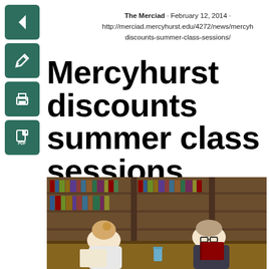The Merciad · February 12, 2014 · http://merciad.mercyhurst.edu/4272/news/mercyhurst-discounts-summer-class-sessions/
Mercyhurst discounts summer class sessions
[Figure (photo): Two students studying at a library table with bookshelves in the background. A female student with blonde hair in a bun is on the left writing, and a male student wearing glasses and a dark hoodie is on the right reading a red book.]